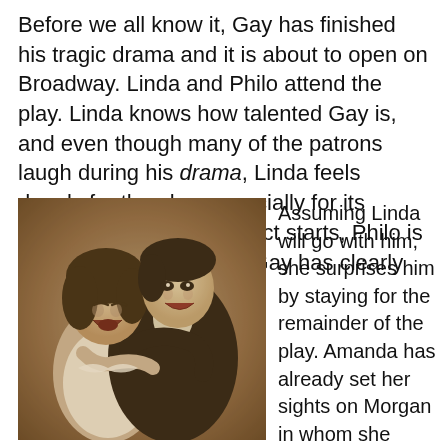Before we all know it, Gay has finished his tragic drama and it is about to open on Broadway. Linda and Philo attend the play. Linda knows how talented Gay is, and even though many of the patrons laugh during his drama, Linda feels deeply for the play, especially for its writing. Before the third act starts, Philo is ready to leave because Gay has clearly failed.
[Figure (photo): Black and white / sepia-toned photograph of a man and woman embracing and laughing together. The woman leans into the man who holds her, both appear joyful.]
Assuming Linda will go with him, she surprises him by staying for the remainder of the play. Amanda has already set her sights on Morgan in whom she sees